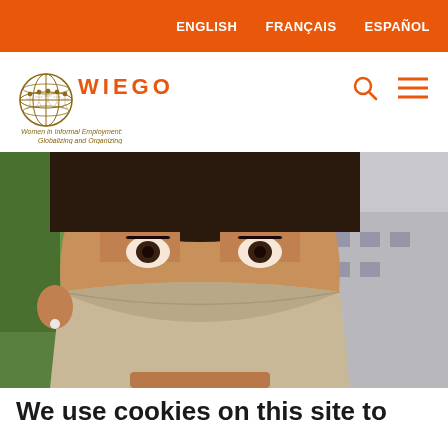ENGLISH   FRANÇAIS   ESPAÑOL
[Figure (logo): WIEGO logo — globe with figures, text: WIEGO, Women in Informal Employment: Globalizing and Organizing]
[Figure (photo): Close-up photo of a woman wearing a beige face mask outdoors, with buildings and trees in background]
We use cookies on this site to